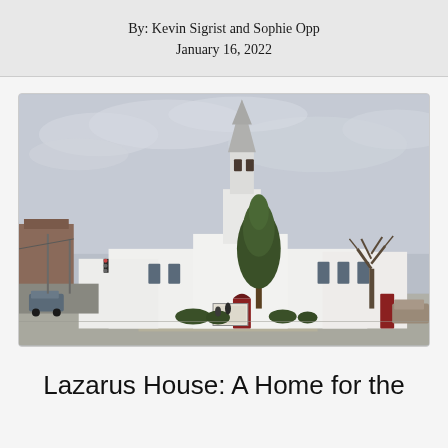By: Kevin Sigrist and Sophie Opp
January 16, 2022
[Figure (photo): Exterior photograph of a white church building with a tall steeple, red doors, trees in front, street visible with parked cars, overcast sky. Taken from street level.]
Lazarus House: A Home for the